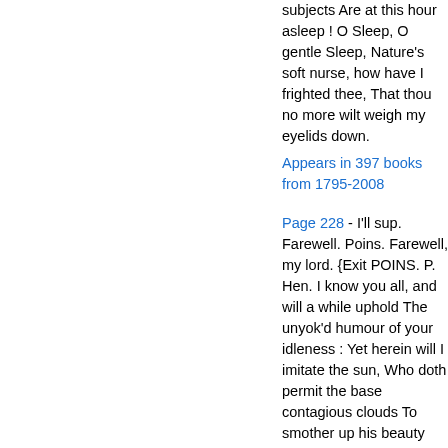subjects Are at this hour asleep ! O Sleep, O gentle Sleep, Nature's soft nurse, how have I frighted thee, That thou no more wilt weigh my eyelids down.
Appears in 397 books from 1795-2008
Page 228 - I'll sup. Farewell. Poins. Farewell, my lord. {Exit POINS. P. Hen. I know you all, and will a while uphold The unyok'd humour of your idleness : Yet herein will I imitate the sun, Who doth permit the base contagious clouds To smother up his beauty from the world, That when he please